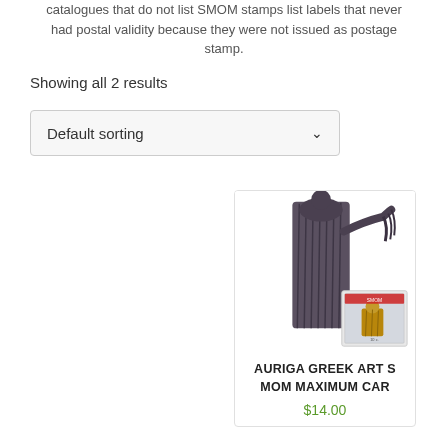catalogues that do not list SMOM stamps list labels  that never had postal validity because they were not issued as postage stamp.
Showing all 2 results
Default sorting
[Figure (photo): Product image of Auriga Greek Art with a stamp showing a classical Greek figure and a smaller stamp inset of a robed figure]
AURIGA GREEK ART S MOM MAXIMUM CAR
$14.00